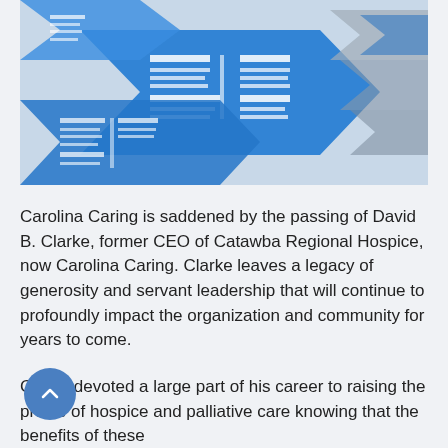[Figure (photo): Blue 3D arrow shapes with newspaper/document icons on them, arranged in a collage pattern on a light gray background]
Carolina Caring is saddened by the passing of David B. Clarke, former CEO of Catawba Regional Hospice, now Carolina Caring. Clarke leaves a legacy of generosity and servant leadership that will continue to profoundly impact the organization and community for years to come.
Clarke devoted a large part of his career to raising the profile of hospice and palliative care knowing that the benefits of these